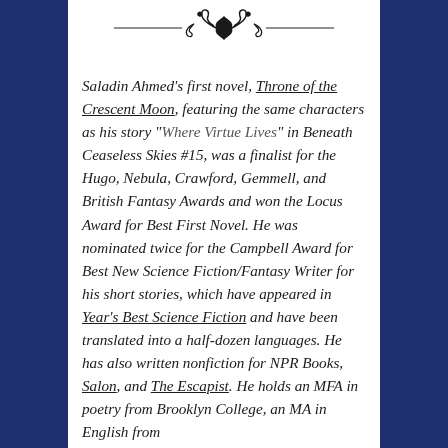[Figure (illustration): Decorative typographic ornament divider with scrollwork and floral motifs, centered at top of white panel]
Saladin Ahmed's first novel, Throne of the Crescent Moon, featuring the same characters as his story "Where Virtue Lives" in Beneath Ceaseless Skies #15, was a finalist for the Hugo, Nebula, Crawford, Gemmell, and British Fantasy Awards and won the Locus Award for Best First Novel. He was nominated twice for the Campbell Award for Best New Science Fiction/Fantasy Writer for his short stories, which have appeared in Year's Best Science Fiction and have been translated into a half-dozen languages. He has also written nonfiction for NPR Books, Salon, and The Escapist. He holds an MFA in poetry from Brooklyn College, an MA in English from